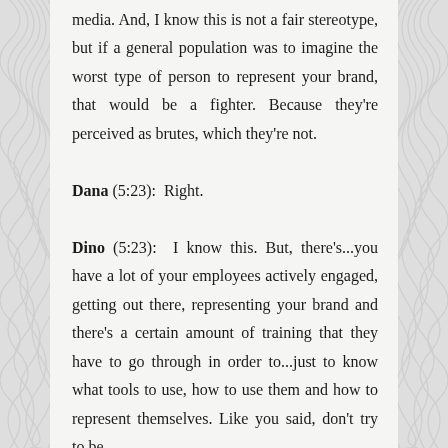media. And, I know this is not a fair stereotype, but if a general population was to imagine the worst type of person to represent your brand, that would be a fighter. Because they're perceived as brutes, which they're not.
Dana (5:23): Right.
Dino (5:23): I know this. But, there's...you have a lot of your employees actively engaged, getting out there, representing your brand and there's a certain amount of training that they have to go through in order to...just to know what tools to use, how to use them and how to represent themselves. Like you said, don't try to be